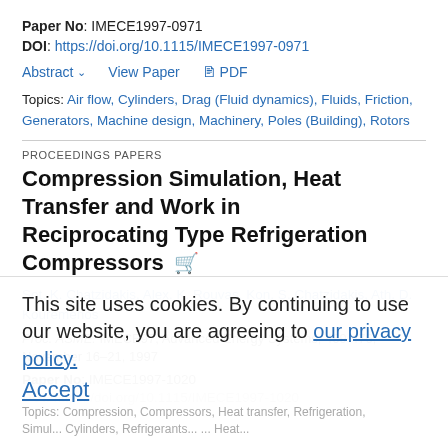Paper No: IMECE1997-0971
DOI: https://doi.org/10.1115/IMECE1997-0971
Abstract ∨   View Paper   🖶 PDF
Topics: Air flow, Cylinders, Drag (Fluid dynamics), Fluids, Friction, Generators, Machine design, Machinery, Poles (Building), Rotors
PROCEEDINGS PAPERS
Compression Simulation, Heat Transfer and Work in Reciprocating Type Refrigeration Compressors
Sot. K. Chatzidakis, Alex. K. Rouvas, Kon. S. Chatzidakis, Ath. D. Kouremenos
Proc. ASME. IMECE97, Advanced Energy Systems, 469-476, November 16–21, 1997
Paper No: IMECE1997-1020
DOI: https://doi.org/10.1115/IMECE1997-1020
This site uses cookies. By continuing to use our website, you are agreeing to our privacy policy. Accept